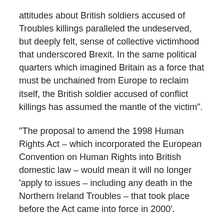attitudes about British soldiers accused of Troubles killings paralleled the undeserved, but deeply felt, sense of collective victimhood that underscored Brexit. In the same political quarters which imagined Britain as a force that must be unchained from Europe to reclaim itself, the British soldier accused of conflict killings has assumed the mantle of the victim".
"The proposal to amend the 1998 Human Rights Act – which incorporated the European Convention on Human Rights into British domestic law – would mean it will no longer 'apply to issues – including any death in the Northern Ireland Troubles – that took place before the Act came into force in 2000'.
Professor McGovern termed it "a strategy of… misusing law as a substitute for traditional military means" and legislating legacy immunity for British armed forces and